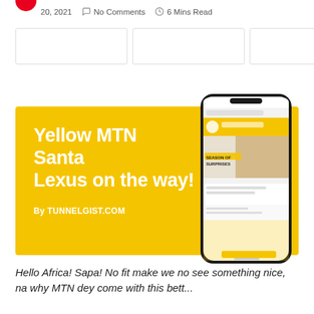20, 2021   No Comments   6 Mins Read
[Figure (infographic): Yellow MTN Santa promotional banner with text 'Yellow MTN Santa Lexus on the way!' and 'By TUNNELGIST.COM', featuring a smartphone mockup showing MTN app with 'SEASON OF SURPRISES' banner]
Hello Africa! Sapa! No fit make we no see something nice, na why MTN dey come with this better...